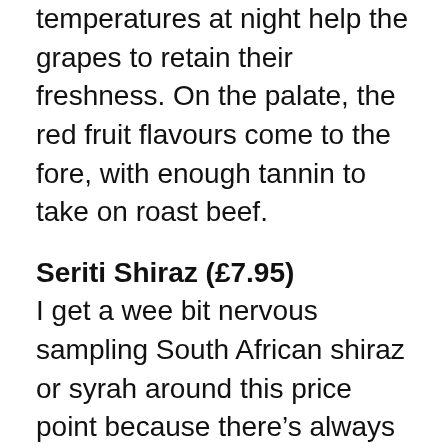temperatures at night help the grapes to retain their freshness. On the palate, the red fruit flavours come to the fore, with enough tannin to take on roast beef.
Seriti Shiraz (£7.95)
I get a wee bit nervous sampling South African shiraz or syrah around this price point because there's always the danger we're going to leap like a springbok into burnt meat or – worse – burnt rubber territory. But this wine reminded me never to judge a book by its cover; it was one of the best in the box, with red cherry, vanilla and very light barbecue notes on the nose, and sweet and lush black fruit on the palate. The touch of